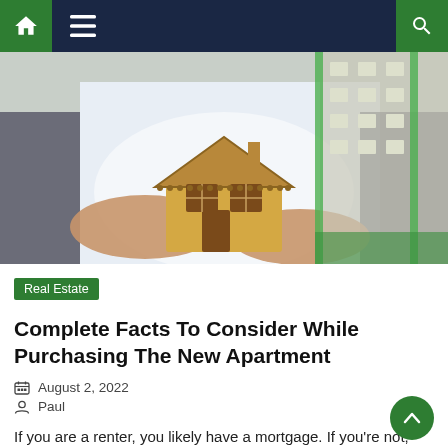Navigation bar with home, menu, and search icons
[Figure (photo): Person holding a small wooden toy house model in their hands, with blurred apartment buildings in the background featuring green accents.]
Real Estate
Complete Facts To Consider While Purchasing The New Apartment
August 2, 2022
Paul
If you are a renter, you likely have a mortgage. If you're not, you probably will soon.  The housing market is on the brink of